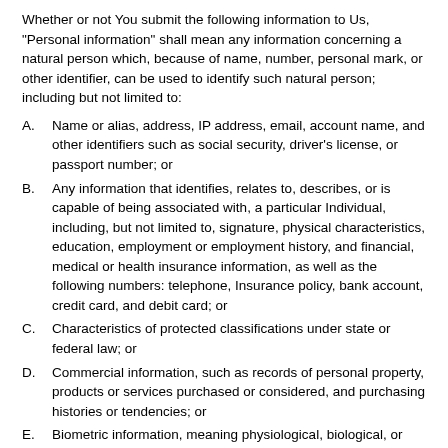Whether or not You submit the following information to Us, "Personal information" shall mean any information concerning a natural person which, because of name, number, personal mark, or other identifier, can be used to identify such natural person; including but not limited to:
A. Name or alias, address, IP address, email, account name, and other identifiers such as social security, driver's license, or passport number; or
B. Any information that identifies, relates to, describes, or is capable of being associated with, a particular Individual, including, but not limited to, signature, physical characteristics, education, employment or employment history, and financial, medical or health insurance information, as well as the following numbers: telephone, Insurance policy, bank account, credit card, and debit card; or
C. Characteristics of protected classifications under state or federal law; or
D. Commercial information, such as records of personal property, products or services purchased or considered, and purchasing histories or tendencies; or
E. Biometric information, meaning physiological, biological, or